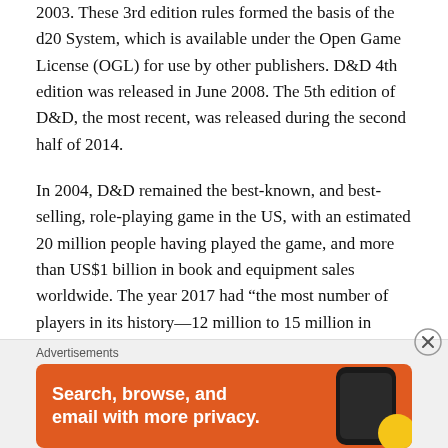2003. These 3rd edition rules formed the basis of the d20 System, which is available under the Open Game License (OGL) for use by other publishers. D&D 4th edition was released in June 2008. The 5th edition of D&D, the most recent, was released during the second half of 2014.
In 2004, D&D remained the best-known, and best-selling, role-playing game in the US, with an estimated 20 million people having played the game, and more than US$1 billion in book and equipment sales worldwide. The year 2017 had “the most number of players in its history—12 million to 15 million in North America alone”. D&D 5th edition sales “were up 41 percent in 2017 from the year before, and soared
Advertisements
[Figure (infographic): Orange advertisement banner for DuckDuckGo showing text 'Search, browse, and email with more privacy.' with a smartphone image and duck logo]